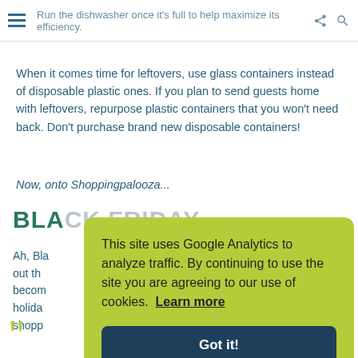Run the dishwasher once it's full to help maximize its efficiency.
When it comes time for leftovers, use glass containers instead of disposable plastic ones. If you plan to send guests home with leftovers, repurpose plastic containers that you won't need back. Don't purchase brand new disposable containers!
Now, onto Shoppingpalooza...
BLACK FRIDAY
Ah, Bla... out th... becom... holida... shopp...
This site uses Google Analytics to analyze traffic. By continuing to use the site you are agreeing to our use of cookies. Learn more
Got it!